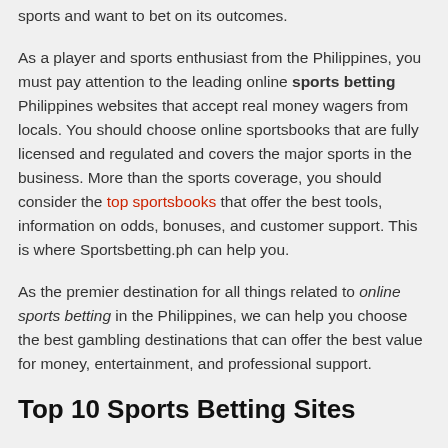sports and want to bet on its outcomes.
As a player and sports enthusiast from the Philippines, you must pay attention to the leading online sports betting Philippines websites that accept real money wagers from locals. You should choose online sportsbooks that are fully licensed and regulated and covers the major sports in the business. More than the sports coverage, you should consider the top sportsbooks that offer the best tools, information on odds, bonuses, and customer support. This is where Sportsbetting.ph can help you.
As the premier destination for all things related to online sports betting in the Philippines, we can help you choose the best gambling destinations that can offer the best value for money, entertainment, and professional support.
Top 10 Sports Betting Sites